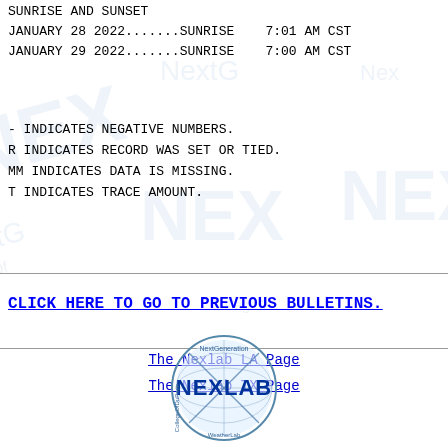SUNRISE AND SUNSET
JANUARY 28 2022.......SUNRISE    7:01 AM CST
JANUARY 29 2022.......SUNRISE    7:00 AM CST
-   INDICATES NEGATIVE NUMBERS.
R   INDICATES RECORD WAS SET OR TIED.
MM  INDICATES DATA IS MISSING.
T   INDICATES TRACE AMOUNT.
CLICK HERE TO GO TO PREVIOUS BULLETINS.
The Nexlab LA Page
The Nexlab TX Page
[Figure (logo): Nexlab NextGeneration CollegeOfDuPage weather lab circular logo with globe and crosshairs]